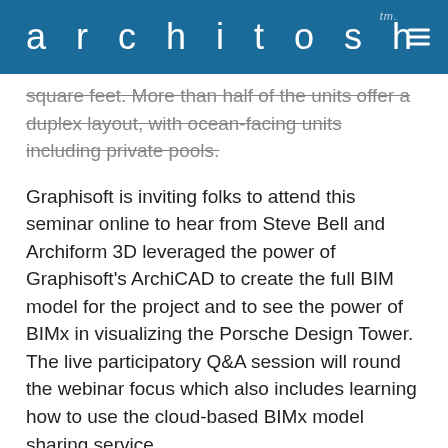architosh tm.
square feet. More than half of the units offer a duplex layout, with ocean-facing units including private pools.
Graphisoft is inviting folks to attend this seminar online to hear from Steve Bell and Archiform 3D leveraged the power of Graphisoft’s ArchiCAD to create the full BIM model for the project and to see the power of BIMx in visualizing the Porsche Design Tower. The live participatory Q&A session will round the webinar focus which also includes learning how to use the cloud-based BIMx model sharing service.